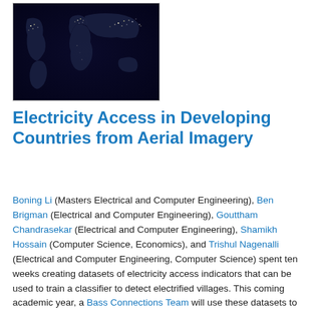[Figure (photo): Satellite night-time image of the Earth showing city lights, with continents visible against dark ocean]
Electricity Access in Developing Countries from Aerial Imagery
Boning Li (Masters Electrical and Computer Engineering), Ben Brigman (Electrical and Computer Engineering), Gouttham Chandrasekar (Electrical and Computer Engineering), Shamikh Hossain (Computer Science, Economics), and Trishul Nagenalli (Electrical and Computer Engineering, Computer Science) spent ten weeks creating datasets of electricity access indicators that can be used to train a classifier to detect electrified villages. This coming academic year, a Bass Connections Team will use these datasets to automatically find power plants and map electricity infrastructure.